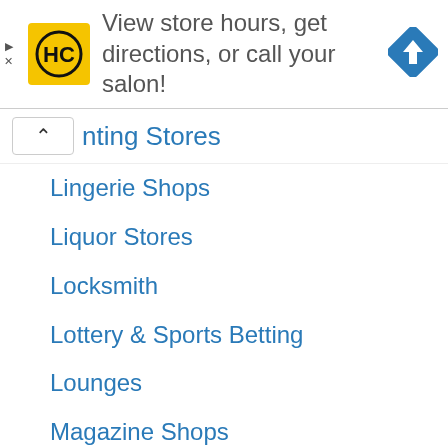[Figure (infographic): Advertisement banner: HC hair salon logo (yellow square with HC text) with text 'View store hours, get directions, or call your salon!' and a blue navigation diamond icon]
nting Stores
Lingerie Shops
Liquor Stores
Locksmith
Lottery & Sports Betting
Lounges
Magazine Shops
Magic Shops
Martial Arts Centres
Massage Salons
Maternity & Baby Shops
Medical Clinics